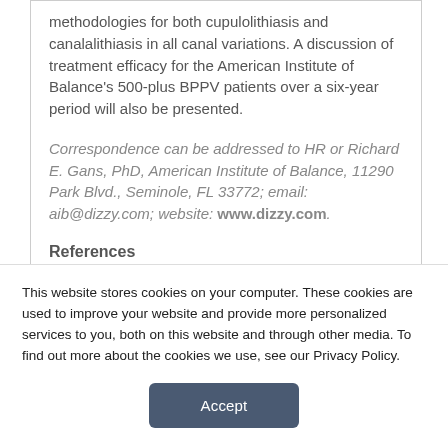methodologies for both cupulolithiasis and canalalithiasis in all canal variations. A discussion of treatment efficacy for the American Institute of Balance's 500-plus BPPV patients over a six-year period will also be presented.
Correspondence can be addressed to HR or Richard E. Gans, PhD, American Institute of Balance, 11290 Park Blvd., Seminole, FL 33772; email: aib@dizzy.com; website: www.dizzy.com.
References
1. Barany R: Diagnose von...
This website stores cookies on your computer. These cookies are used to improve your website and provide more personalized services to you, both on this website and through other media. To find out more about the cookies we use, see our Privacy Policy.